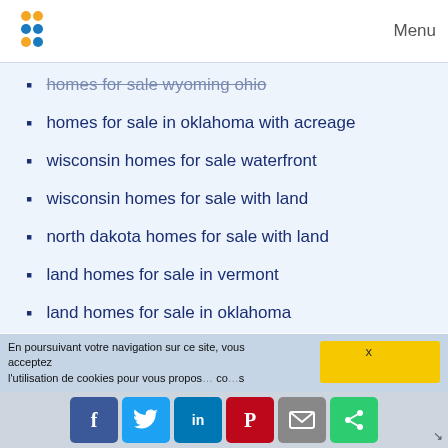Menu
homes for sale wyoming ohio
homes for sale in oklahoma with acreage
wisconsin homes for sale waterfront
wisconsin homes for sale with land
north dakota homes for sale with land
land homes for sale in vermont
land homes for sale in oklahoma
log homes for sale in tennessee
wisconsin homes for sale on lake
land homes for sale in tennessee
north york homes for sale
tennessee homes for sale on lake
homes for sale in west virginia
land homes for sale in texas
south lake homes
En poursuivant votre navigation sur ce site, vous acceptez l'utilisation de cookies pour vous proposer des contenus.